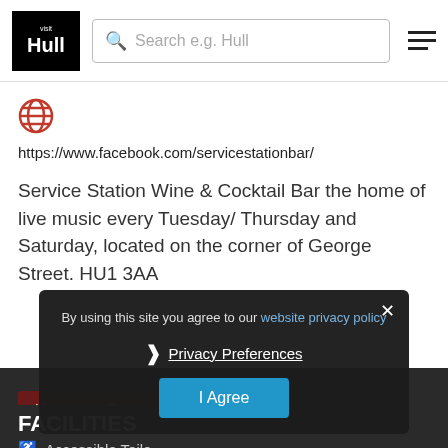Visit Hull | Search e.g. Hull
https://www.facebook.com/servicestationbar/
Service Station Wine & Cocktail Bar the home of live music every Tuesday/ Thursday and Saturday, located on the corner of George Street. HU1 3AA
By using this site you agree to our website privacy policy
Privacy Preferences
I Agree
View Venue Page
FACILITIES
Accessible Toile...